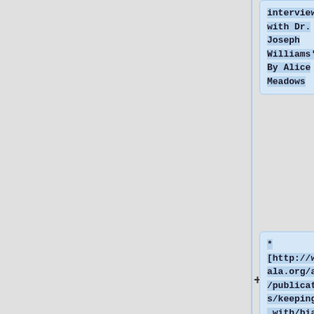interview with Dr. Joseph Williams''] By Alice Meadows
* [http://www.ala.org/acrl/publications/keeping_up_with/bias ''Keeping up with Implicit Bias''] by Tarica LaBossiere, Endia Paige, Beau Steenken